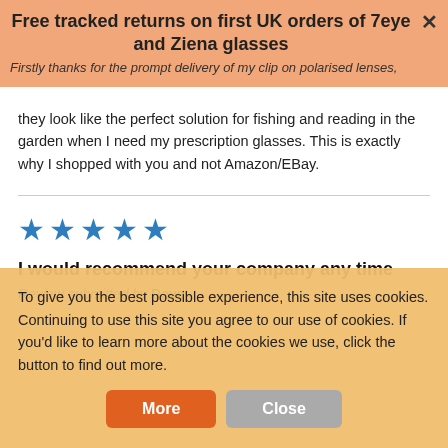Free tracked returns on first UK orders of 7eye and Ziena glasses
Firstly thanks for the prompt delivery of my clip on polarised lenses, they look like the perfect solution for fishing and reading in the garden when I need my prescription glasses. This is exactly why I shopped with you and not Amazon/EBay.
[Figure (other): Five blue star rating icons]
I would recommend your company any time
Review submitted by Dave
To give you the best possible experience, this site uses cookies. Continuing to use this site you agree to our use of cookies. If you'd like to learn more about the cookies we use, click the button to find out more.